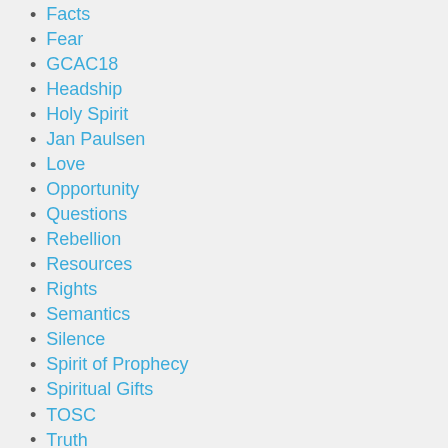Facts
Fear
GCAC18
Headship
Holy Spirit
Jan Paulsen
Love
Opportunity
Questions
Rebellion
Resources
Rights
Semantics
Silence
Spirit of Prophecy
Spiritual Gifts
TOSC
Truth
Unity
Videos
Yes